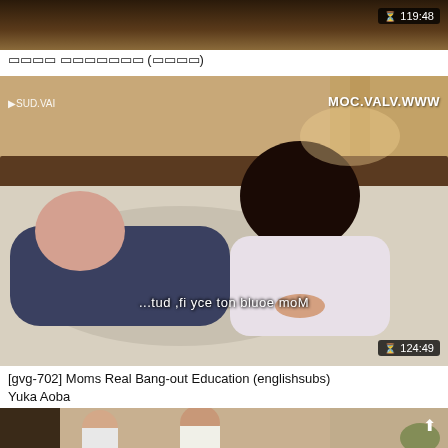[Figure (screenshot): Top partial video thumbnail showing a dark bedroom scene, with a duration badge showing 119:48]
□□□□ □□□□□□□ (□□□□)
[Figure (screenshot): Video thumbnail showing two people on a bed in a room, with watermark MOC.VALV.WWW and subtitle text 'Mom could not say if, but...' mirrored. Duration badge shows 124:49]
[gvg-702] Moms Real Bang-out Education (englishsubs) Yuka Aoba
[Figure (screenshot): Partial bottom video thumbnail showing two people talking indoors, with an up-arrow scroll button]